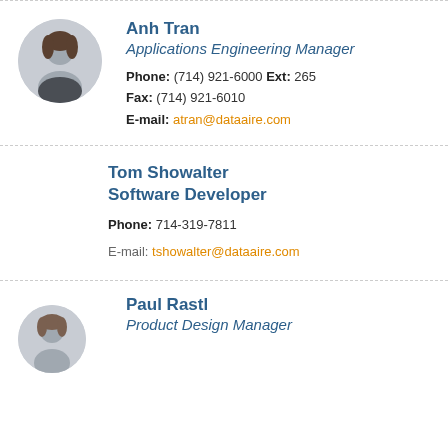[Figure (photo): Circular profile photo of Anh Tran]
Anh Tran
Applications Engineering Manager
Phone: (714) 921-6000 Ext: 265
Fax: (714) 921-6010
E-mail: atran@dataaire.com
Tom Showalter
Software Developer
Phone: 714-319-7811
E-mail: tshowalter@dataaire.com
[Figure (photo): Partial circular profile photo of Paul Rastl]
Paul Rastl
Product Design Manager